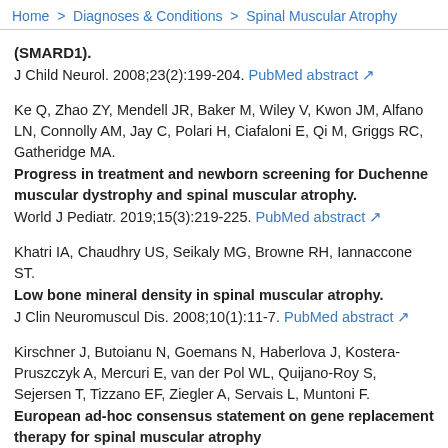Home > Diagnoses & Conditions > Spinal Muscular Atrophy
(SMARD1).
J Child Neurol. 2008;23(2):199-204. PubMed abstract
Ke Q, Zhao ZY, Mendell JR, Baker M, Wiley V, Kwon JM, Alfano LN, Connolly AM, Jay C, Polari H, Ciafaloni E, Qi M, Griggs RC, Gatheridge MA.
Progress in treatment and newborn screening for Duchenne muscular dystrophy and spinal muscular atrophy.
World J Pediatr. 2019;15(3):219-225. PubMed abstract
Khatri IA, Chaudhry US, Seikaly MG, Browne RH, Iannaccone ST.
Low bone mineral density in spinal muscular atrophy.
J Clin Neuromuscul Dis. 2008;10(1):11-7. PubMed abstract
Kirschner J, Butoianu N, Goemans N, Haberlova J, Kostera-Pruszczyk A, Mercuri E, van der Pol WL, Quijano-Roy S, Sejersen T, Tizzano EF, Ziegler A, Servais L, Muntoni F.
European ad-hoc consensus statement on gene replacement therapy for spinal muscular atrophy